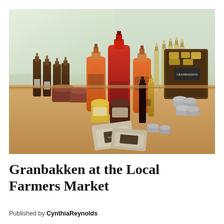[Figure (photo): A wooden table displaying an assortment of artisan market products: dark glass bottles with cork stoppers, glass jars with red and orange contents, small jars of jam or preserves, small tins, cloth sachets with labels, a wooden crate with gold-lidded containers, and various bottled syrups or beverages. Background shows a bright windowed room.]
Granbakken at the Local Farmers Market
Published by CynthiaReynolds